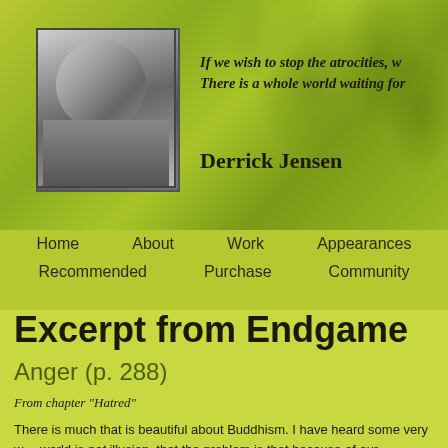[Figure (photo): Black and white portrait photo of Derrick Jensen, a man with curly dark hair]
If we wish to stop the atrocities, w… There is a whole world waiting for…
Derrick Jensen
Home   About   Work   Appearances   Recommended   Purchase   Community
Excerpt from Endgame
Anger (p. 288)
From chapter "Hatred"
There is much that is beautiful about Buddhism. I have heard some very w… world is not illusion, that the problem is that because of our enculturation a…